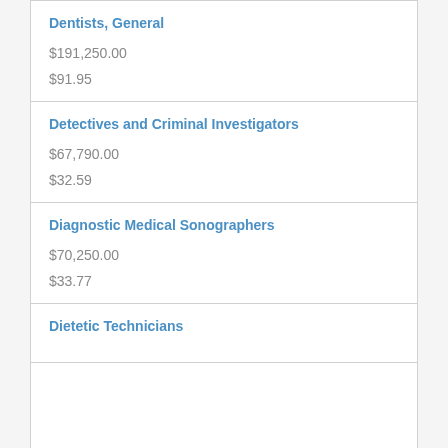| Occupation | Annual Salary | Hourly Rate |
| --- | --- | --- |
| Dentists, General | $191,250.00 | $91.95 |
| Detectives and Criminal Investigators | $67,790.00 | $32.59 |
| Diagnostic Medical Sonographers | $70,250.00 | $33.77 |
| Dietetic Technicians |  |  |